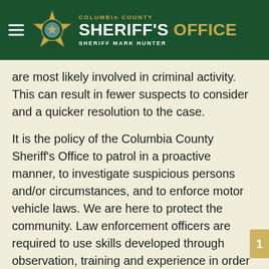COLUMBIA COUNTY SHERIFF'S OFFICE — SHERIFF MARK HUNTER
are most likely involved in criminal activity. This can result in fewer suspects to consider and a quicker resolution to the case.
It is the policy of the Columbia County Sheriff's Office to patrol in a proactive manner, to investigate suspicious persons and/or circumstances, and to enforce motor vehicle laws. We are here to protect the community. Law enforcement officers are required to use skills developed through observation, training and experience in order to identify suspicious circumstances, unusual occurrences and violations of law, and to act according to the situation. Therefore, officers focus on a person's conduct or